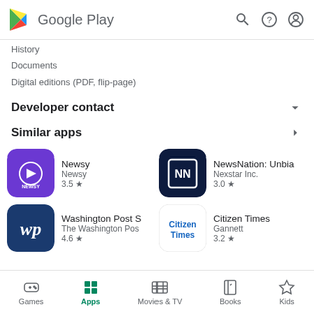Google Play
History
Documents
Digital editions (PDF, flip-page)
Developer contact
Similar apps
[Figure (screenshot): Newsy app icon - purple background with Newsy logo]
Newsy
Newsy
3.5 ★
[Figure (screenshot): NewsNation app icon - dark blue background with NN logo]
NewsNation: Unbia
Nexstar Inc.
3.0 ★
[Figure (screenshot): Washington Post app icon - dark blue background with wp logo]
Washington Post S
The Washington Pos
4.6 ★
[Figure (screenshot): Citizen Times app icon - white background with Citizen Times text in blue]
Citizen Times
Gannett
3.2 ★
Games  Apps  Movies & TV  Books  Kids